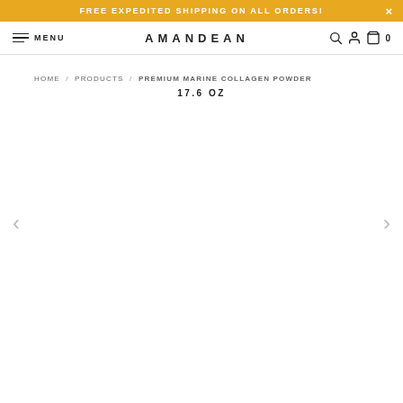FREE EXPEDITED SHIPPING ON ALL ORDERS!
MENU  AMANDEAN  0
HOME / PRODUCTS / PREMIUM MARINE COLLAGEN POWDER 17.6 OZ